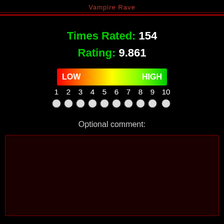Vampire Rave
Times Rated: 154
Rating: 9.861
[Figure (infographic): A horizontal gradient bar from red (LOW) on the left to green (HIGH) on the right, with rating numbers 1 through 10 below, and white circle radio buttons beneath each number.]
Optional comment:
[Figure (other): A dark red comment text input box area]